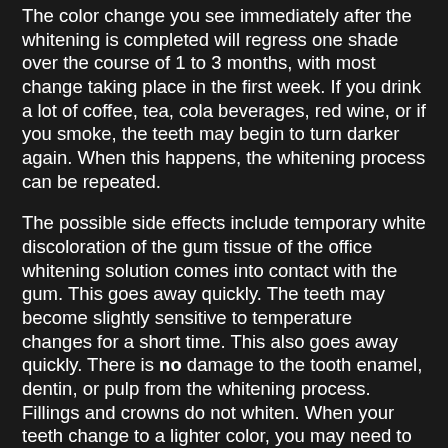The color change you see immediately after the whitening is completed will regress one shade over the course of 1 to 3 months, with most change taking place in the first week. If you drink a lot of coffee, tea, cola beverages, red wine, or if you smoke, the teeth may begin to turn darker again. When this happens, the whitening process can be repeated.
The possible side effects include temporary white discoloration of the gum tissue of the office whitening solution comes into contact with the gum. This goes away quickly. The teeth may become slightly sensitive to temperature changes for a short time. This also goes away quickly. There is no damage to the tooth enamel, dentin, or pulp from the whitening process. Fillings and crowns do not whiten. When your teeth change to a lighter color, you may need to have those fillings and/or crowns redone. We will let you know whether this is a possibility before we whiten your teeth. There are other adverse effects known.
The teeth that show when you talk, smile, or eat are the teeth that would benefit your appearance most if whitened. Usually the top teeth are whitened because they are much